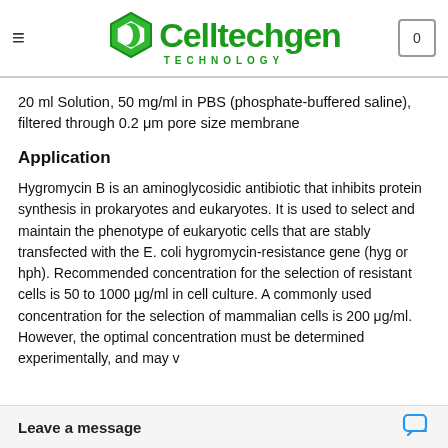Celltechgen TECHNOLOGY
20 ml Solution, 50 mg/ml in PBS (phosphate-buffered saline), filtered through 0.2 μm pore size membrane
Application
Hygromycin B is an aminoglycosidic antibiotic that inhibits protein synthesis in prokaryotes and eukaryotes. It is used to select and maintain the phenotype of eukaryotic cells that are stably transfected with the E. coli hygromycin-resistance gene (hyg or hph). Recommended concentration for the selection of resistant cells is 50 to 1000 μg/ml in cell culture. A commonly used concentration for the selection of mammalian cells is 200 μg/ml. However, the optimal concentration must be determined experimentally, and may v